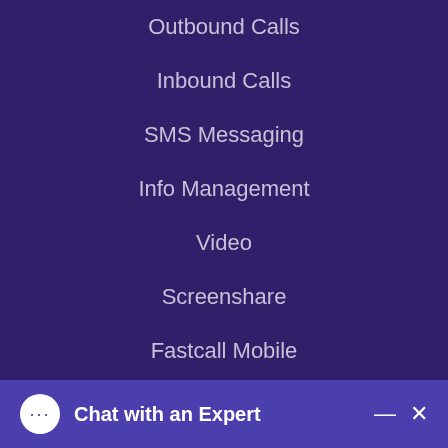Outbound Calls
Inbound Calls
SMS Messaging
Info Management
Video
Screenshare
Fastcall Mobile
Custom Features
Fastcall Consulting
Other FC Apps
Chat with an Expert